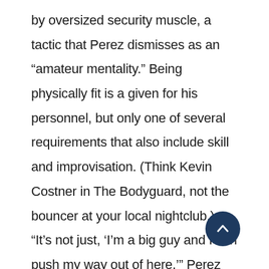by oversized security muscle, a tactic that Perez dismisses as an “amateur mentality.” Being physically fit is a given for his personnel, but only one of several requirements that also include skill and improvisation. (Think Kevin Costner in The Bodyguard, not the bouncer at your local nightclub.) “It’s not just, ‘I’m a big guy and I can push my way out of here,’” Perez explains. “You have an entry plan and exit plan